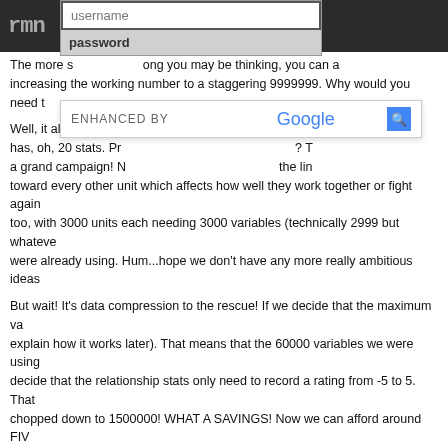rmn — navigation bar with username/password login overlay
The more s...ong you may be thinking, you can a increasing the working number to a staggering 9999999. Why would you need t
Well, it all depends o... ppose y has, oh, 20 stats. Pr...? T a grand campaign! N...the lin toward every other unit which affects how well they work together or fight again too, with 3000 units each needing 3000 variables (technically 2999 but whateve were already using. Hum...hope we don't have any more really ambitious ideas
But wait! It's data compression to the rescue! If we decide that the maximum va explain how it works later). That means that the 60000 variables we were using decide that the relationship stats only need to record a rating from -5 to 5. That chopped down to 1500000! WHAT A SAVINGS! Now we can afford around FIV
That's a rather silly and extreme example of course, but you see how quickly da compressing that data can be in such situations. Besides, just knowing such inc Where the compression system really shines is when you have extremely smal familiar? Yup, that's exactly what switches do. Using data compression, you ca can both set AND check the values by reference! This allows you to implement do which variables can't, like controlling monster behaviors.
What's the code?
I've created a demo project (which you can download here) containing the comm demonstration scripting we'll be making in this tutorial. You can copy the comme assign variables within your project and change all the variable references in th events (edited a bit from the pure copy-paste to make it clearer which variables data compression system; those of you who are particularly code-savvy can pro